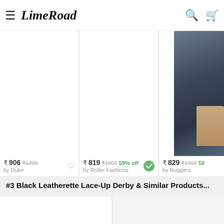LimeRoad
[Figure (screenshot): Product card 1: clothing item, price ₹906, original ₹1295, by Duke, with heart icon]
[Figure (screenshot): Product card 2: clothing item, price ₹819, original ₹1999, 59% off, by Roller Fashions, with verified tick]
[Figure (screenshot): Product card 3 (partial): navy blue shirt, price ₹829, original ₹1999, 59%, by Ruggers]
#3 Black Leatherette Lace-Up Derby & Similar Products...
[Figure (screenshot): Product card bottom left: blank/loading product image]
[Figure (screenshot): Product card bottom right: blank/loading product image]